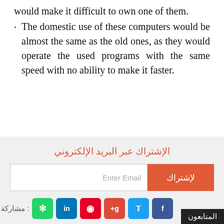would make it difficult to own one of them.
The domestic use of these computers would be almost the same as the old ones, as they would operate the used programs with the same speed with no ability to make it faster.
الإشتراك عبر البريد الإلكتروني
لإشتراك | Enter Email
مشاركة : [whatsapp] [linkedin] [pinterest] [google+] [twitter] [facebook]
المتابعون